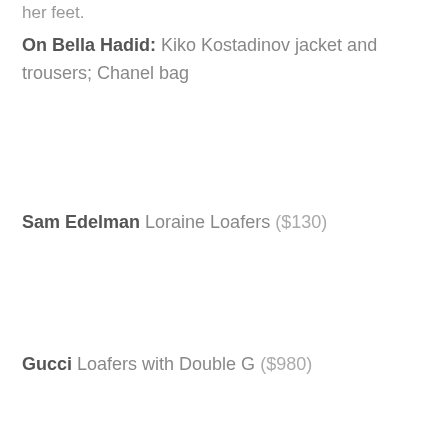her feet.
On Bella Hadid: Kiko Kostadinov jacket and trousers; Chanel bag
Sam Edelman Loraine Loafers ($130)
Gucci Loafers with Double G ($980)